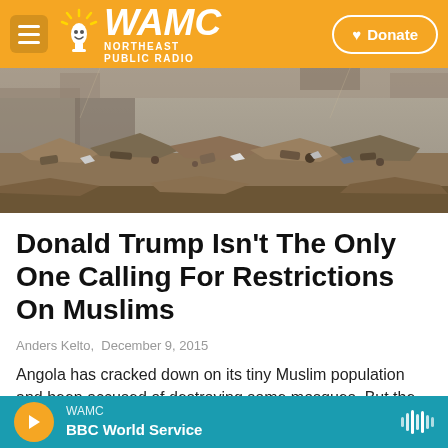WAMC Northeast Public Radio — Donate
[Figure (photo): Aerial or ground-level photograph of rubble, dirt, and debris, likely a demolished building site]
Donald Trump Isn't The Only One Calling For Restrictions On Muslims
Anders Kelto,  December 9, 2015
Angola has cracked down on its tiny Muslim population and been accused of destroying some mosques. But the southern African nation has not
WAMC  BBC World Service